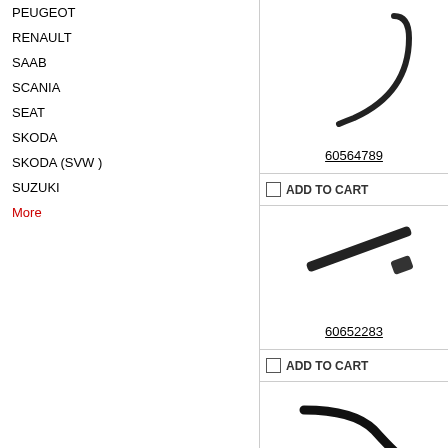PEUGEOT
RENAULT
SAAB
SCANIA
SEAT
SKODA
SKODA (SVW )
SUZUKI
More
[Figure (photo): Curved black rubber hose, part number 60564789]
60564789
ADD TO CART
[Figure (photo): Black cylindrical rod/pipe part, part number 60652283]
60652283
ADD TO CART
[Figure (photo): Black curved hose with elbow bend, third product]